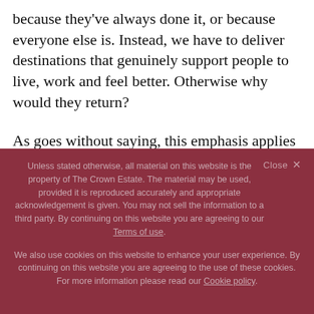because they've always done it, or because everyone else is. Instead, we have to deliver destinations that genuinely support people to live, work and feel better. Otherwise why would they return?
As goes without saying, this emphasis applies just as clearly to those who help design, build, manage and maintain our spaces, as it does
Unless stated otherwise, all material on this website is the property of The Crown Estate. The material may be used, provided it is reproduced accurately and appropriate acknowledgement is given. You may not sell the information to a third party. By continuing on this website you are agreeing to our Terms of use.
We also use cookies on this website to enhance your user experience. By continuing on this website you are agreeing to the use of these cookies. For more information please read our Cookie policy.